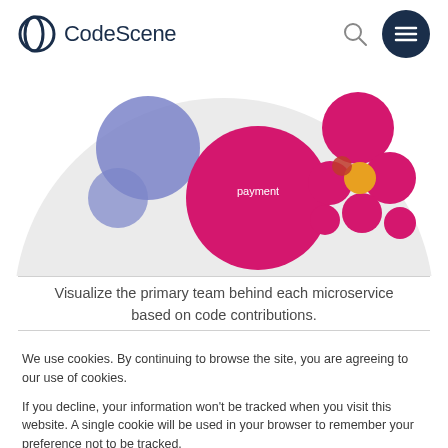CodeScene
[Figure (infographic): Bubble chart visualization showing primary teams behind microservices. Large circular background with colored bubbles: purple/blue bubbles on left, large magenta/pink bubble labeled 'payment' in center, smaller magenta bubbles and orange/yellow bubble cluster on right side.]
Visualize the primary team behind each microservice based on code contributions.
We use cookies. By continuing to browse the site, you are agreeing to our use of cookies.

If you decline, your information won't be tracked when you visit this website. A single cookie will be used in your browser to remember your preference not to be tracked.